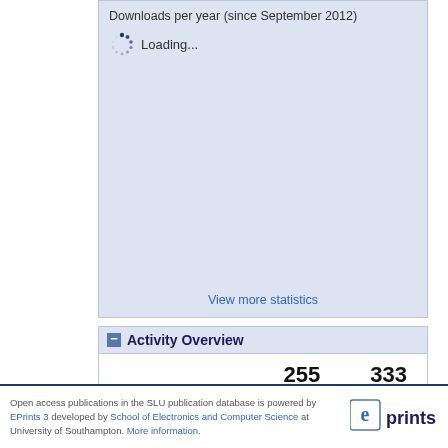[Figure (screenshot): Downloads per year (since September 2012) chart area showing a loading spinner and 'Loading...' text on a light blue background, with a 'View more statistics' link at the bottom.]
Activity Overview
| Downloads | Hits |
| --- | --- |
| 255 | 333 |
Open access publications in the SLU publication database is powered by EPrints 3 developed by School of Electronics and Computer Science at University of Southampton. More information.